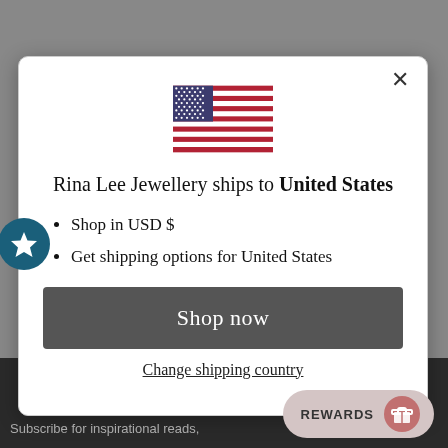[Figure (screenshot): US flag SVG illustration centered in modal]
Rina Lee Jewellery ships to United States
Shop in USD $
Get shipping options for United States
Shop now
Change shipping country
REWARDS
Subscribe for inspirational reads,